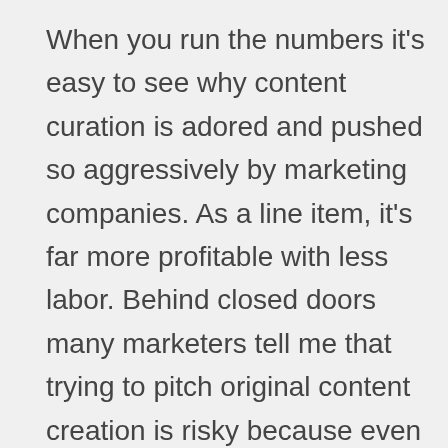When you run the numbers it's easy to see why content curation is adored and pushed so aggressively by marketing companies. As a line item, it's far more profitable with less labor. Behind closed doors many marketers tell me that trying to pitch original content creation is risky because even if you get the gig, you have to work a lot harder for the revenue. Content curation takes less time and can provide